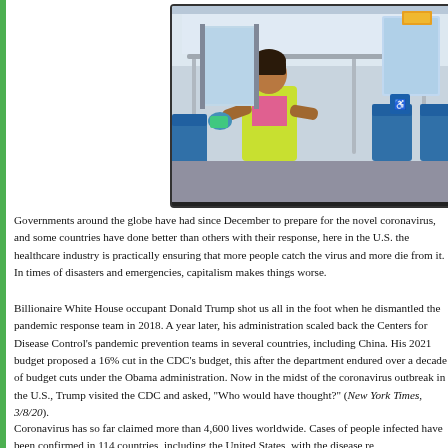[Figure (photo): A worker in a yellow/green safety vest cleaning or wiping down seats inside a public transit bus or train car. The interior shows rows of blue seats and handrails.]
Governments around the globe have had since December to prepare for the novel coronavirus, and some countries have done better than others with their response, here in the U.S. the healthcare industry is practically ensuring that more people catch the virus and more die from it. In times of disasters and emergencies, capitalism makes things worse.
Billionaire White House occupant Donald Trump shot us all in the foot when he dismantled the pandemic response team in 2018. A year later, his administration scaled back the Centers for Disease Control's pandemic prevention teams in several countries, including China. His 2021 budget proposed a 16% cut in the CDC's budget, this after the department endured over a decade of budget cuts under the Obama administration. Now in the midst of the coronavirus outbreak in the U.S., Trump visited the CDC and asked, "Who would have thought?" (New York Times, 3/8/20).
Coronavirus has so far claimed more than 4,600 lives worldwide. Cases of people infected have been confirmed in 114 countries, including the United States, with the disease re